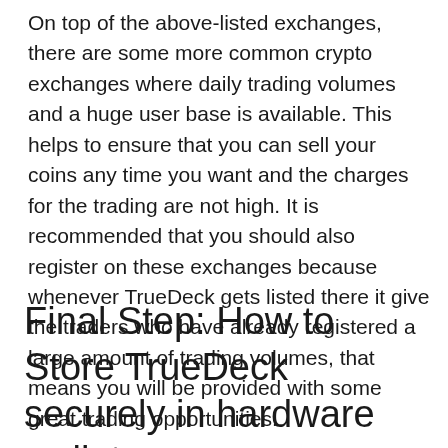On top of the above-listed exchanges, there are some more common crypto exchanges where daily trading volumes and a huge user base is available. This helps to ensure that you can sell your coins any time you want and the charges for the trading are not high. It is recommended that you should also register on these exchanges because whenever TrueDeck gets listed there it give the traders who have already registered a large amount of trading volumes, that means you will be provided with some great trading opportunities!
Final Step: How to Store TrueDeck securely in hardware wallets